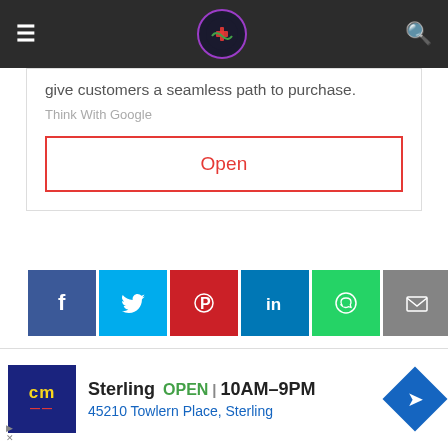Navigation bar with hamburger menu, logo, and search icon
use Google Ads as a digital storefront, and give customers a seamless path to purchase.
Think With Google
Open
[Figure (infographic): Social share buttons row: Facebook (blue), Twitter (cyan), Pinterest (red), LinkedIn (blue), WhatsApp (green), Email (gray)]
OLDER
10 Rights of Drug Administration - Medication Rights
NEWER
Parts of Syringe And Needle, Functions, Uses
[Figure (other): Advertisement banner for Sterling showing cm logo, OPEN 10AM-9PM, 45210 Towlern Place Sterling, with navigation arrow icon]